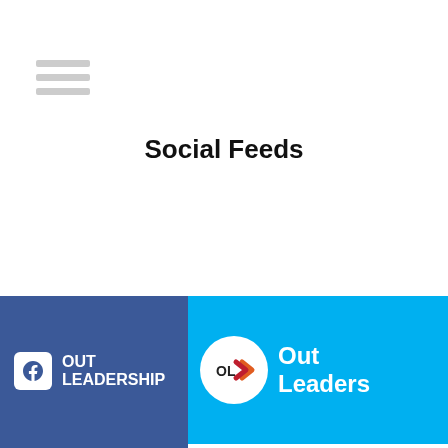[Figure (other): Hamburger menu icon with three horizontal lines]
Social Feeds
[Figure (other): Facebook Out Leadership banner - dark blue background with Facebook icon, text OUT LEADERSHIP]
[Figure (other): Out Leaders banner - light blue background with Out Leaders logo circle (OL with arrow), text Out Leaders]
[Figure (screenshot): Twitter/X profile widget showing Out Leadership account with blue verified checkmark, Follow button, and tweet timestamp 21h]
Given the recent historic overturning of Singapore's colonial-era, anti-gay law, section 377A, this week we'd like to honor the career, activism, and incredible